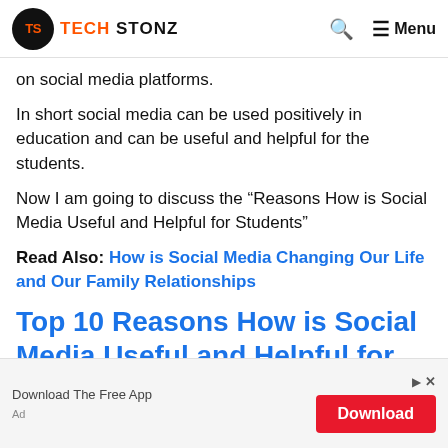Tech Stonz — Menu
on social media platforms.
In short social media can be used positively in education and can be useful and helpful for the students.
Now I am going to discuss the “Reasons How is Social Media Useful and Helpful for Students”
Read Also: How is Social Media Changing Our Life and Our Family Relationships
Top 10 Reasons How is Social Media Useful and Helpful for Students
[Figure (screenshot): Advertisement banner: Download The Free App with red Download button]